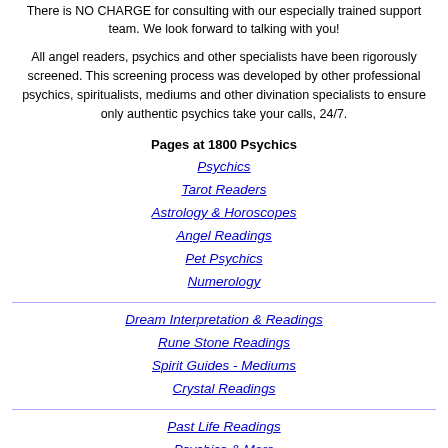There is NO CHARGE for consulting with our especially trained support team. We look forward to talking with you!
All angel readers, psychics and other specialists have been rigorously screened. This screening process was developed by other professional psychics, spiritualists, mediums and other divination specialists to ensure only authentic psychics take your calls, 24/7.
Pages at 1800 Psychics
Psychics
Tarot Readers
Astrology & Horoscopes
Angel Readings
Pet Psychics
Numerology
Dream Interpretation & Readings
Rune Stone Readings
Spirit Guides - Mediums
Crystal Readings
Past Life Readings
Psychics & More